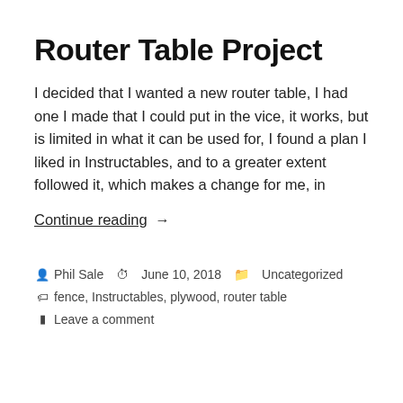Router Table Project
I decided that I wanted a new router table, I had one I made that I could put in the vice, it works, but is limited in what it can be used for, I found a plan I liked in Instructables, and to a greater extent followed it, which makes a change for me, in
Continue reading →
Phil Sale   June 10, 2018   Uncategorized
fence, Instructables, plywood, router table
Leave a comment